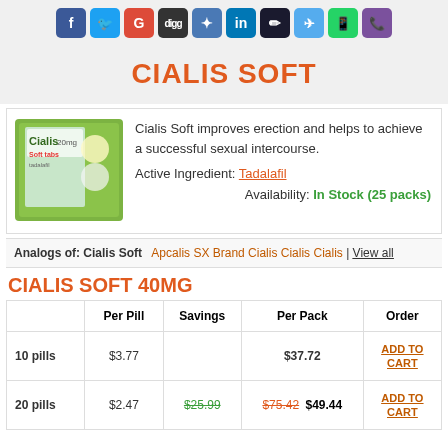[Figure (infographic): Row of social media sharing icons: Facebook, Twitter, Google+, Digg, Delicious, LinkedIn, Pencil/Edit, Bird, WhatsApp, Viber]
CIALIS SOFT
[Figure (photo): Cialis Soft tabs 20mg medicine box (green and white packaging with a tablet/pill visible)]
Cialis Soft improves erection and helps to achieve a successful sexual intercourse.
Active Ingredient: Tadalafil
Availability: In Stock (25 packs)
Analogs of: Cialis Soft   Apcalis SX   Brand Cialis   Cialis   Cialis   View all
CIALIS SOFT 40MG
|  | Per Pill | Savings | Per Pack | Order |
| --- | --- | --- | --- | --- |
| 10 pills | $3.77 |  | $37.72 | ADD TO CART |
| 20 pills | $2.47 | $25.99 | $75.42 $49.44 | ADD TO CART |